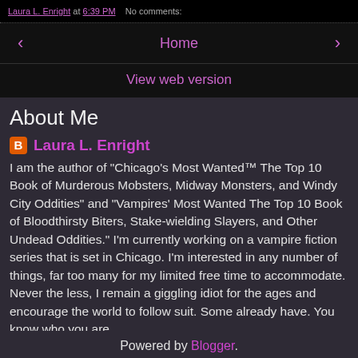Laura L. Enright at 6:39 PM   No comments:
‹   Home   ›
View web version
About Me
Laura L. Enright
I am the author of "Chicago's Most Wanted™ The Top 10 Book of Murderous Mobsters, Midway Monsters, and Windy City Oddities" and "Vampires' Most Wanted The Top 10 Book of Bloodthirsty Biters, Stake-wielding Slayers, and Other Undead Oddities." I'm currently working on a vampire fiction series that is set in Chicago. I'm interested in any number of things, far too many for my limited free time to accommodate. Never the less, I remain a giggling idiot for the ages and encourage the world to follow suit. Some already have. You know who you are.
View my complete profile
Powered by Blogger.